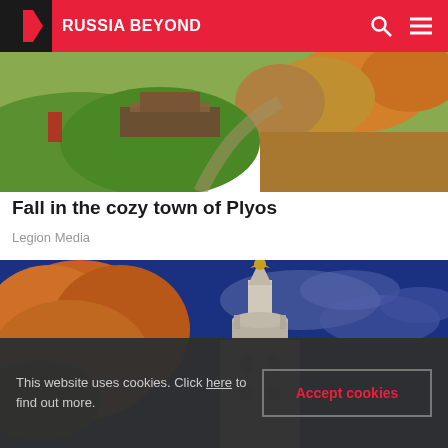RUSSIA BEYOND
[Figure (photo): Autumn landscape of the cozy town of Plyos with green hills, orange and yellow autumn trees, and rustic wooden structures]
Fall in the cozy town of Plyos
Legion Media
[Figure (photo): Close-up view looking up at a tall ornate spire topped with a double-headed eagle, framed by orange autumn tree leaves against a dramatic blue cloudy sky, Moscow State University tower]
This website uses cookies. Click here to find out more.